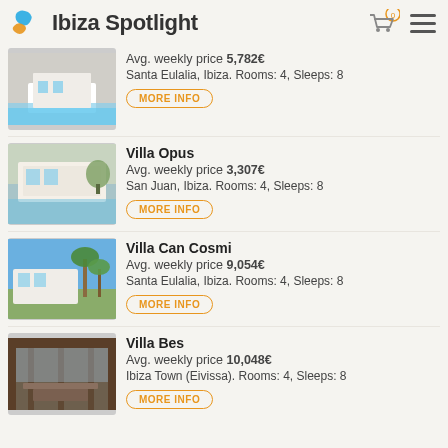Ibiza Spotlight
Avg. weekly price 5,782€
Santa Eulalia, Ibiza. Rooms: 4, Sleeps: 8
MORE INFO
Villa Opus
Avg. weekly price 3,307€
San Juan, Ibiza. Rooms: 4, Sleeps: 8
MORE INFO
Villa Can Cosmi
Avg. weekly price 9,054€
Santa Eulalia, Ibiza. Rooms: 4, Sleeps: 8
MORE INFO
Villa Bes
Avg. weekly price 10,048€
Ibiza Town (Eivissa). Rooms: 4, Sleeps: 8
MORE INFO